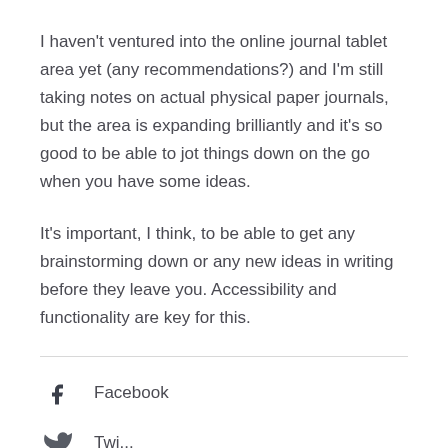I haven't ventured into the online journal tablet area yet (any recommendations?) and I'm still taking notes on actual physical paper journals, but the area is expanding brilliantly and it's so good to be able to jot things down on the go when you have some ideas.
It's important, I think, to be able to get any brainstorming down or any new ideas in writing before they leave you. Accessibility and functionality are key for this.
[Figure (other): Facebook social share icon with label 'Facebook']
[Figure (other): Twitter social share icon with partial label 'Twitter']